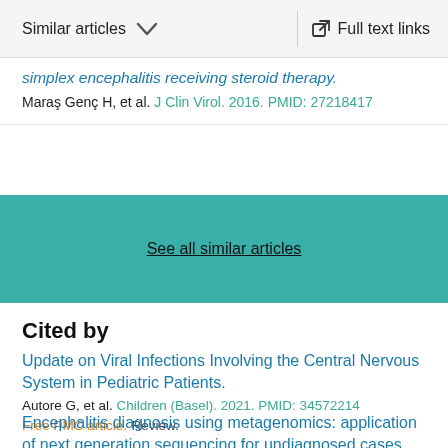Similar articles  ∨  Full text links
simplex encephalitis receiving steroid therapy.
Maraş Genç H, et al. J Clin Virol. 2016. PMID: 27218417
See all similar articles
Cited by
Update on Viral Infections Involving the Central Nervous System in Pediatric Patients.
Autore G, et al. Children (Basel). 2021. PMID: 34572214
Free PMC article. Review.
Encephalitis diagnosis using metagenomics: application of next generation sequencing for undiagnosed cases.